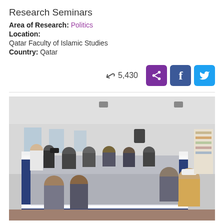Research Seminars
Area of Research: Politics
Location: Qatar Faculty of Islamic Studies
Country: Qatar
5,430
[Figure (photo): A research seminar room at Qatar Faculty of Islamic Studies. Participants seated around a large U-shaped table arrangement with navy blue cloth. A presenter stands at the front left. Projectors visible on the ceiling. Bookshelves in background.]